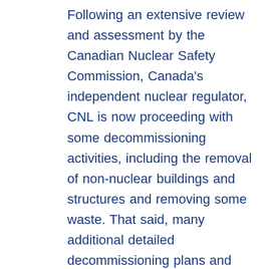Following an extensive review and assessment by the Canadian Nuclear Safety Commission, Canada's independent nuclear regulator, CNL is now proceeding with some decommissioning activities, including the removal of non-nuclear buildings and structures and removing some waste. That said, many additional detailed decommissioning plans and environmental reviews will be required to fully decommission the reactor. These additional requirements will involve public and Indigenous engagement and participation in the regulatory decision process. The removal of the reactor